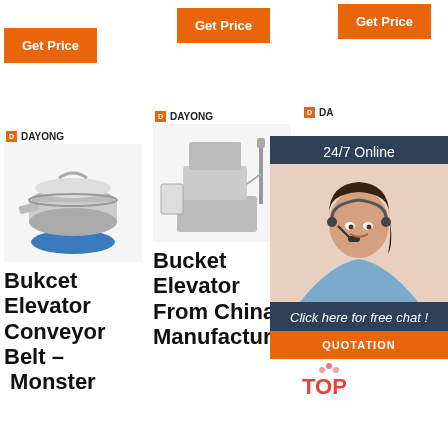[Figure (screenshot): E-commerce product listing page showing three columns of bucket elevator products from Dayong brand, with orange Get Price buttons, product images of industrial machinery, and a 24/7 online chat overlay panel on the right with agent photo, Click here for free chat text, and QUOTATION button. Product titles visible: Bukcet Elevator Conveyor Belt – Monster, Bucket Elevator From China Manufacturer-, Bu Elevator - Chinahongj. Date 2021-6-18 and text 'The bucket elevator is a continuous conveying...' visible at bottom.]